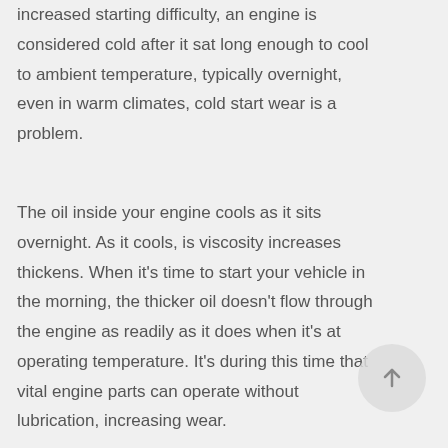increased starting difficulty, an engine is considered cold after it sat long enough to cool to ambient temperature, typically overnight, even in warm climates, cold start wear is a problem.
The oil inside your engine cools as it sits overnight. As it cools, is viscosity increases thickens. When it’s time to start your vehicle in the morning, the thicker oil doesn’t flow through the engine as readily as it does when it’s at operating temperature. It’s during this time that vital engine parts can operate without lubrication, increasing wear.